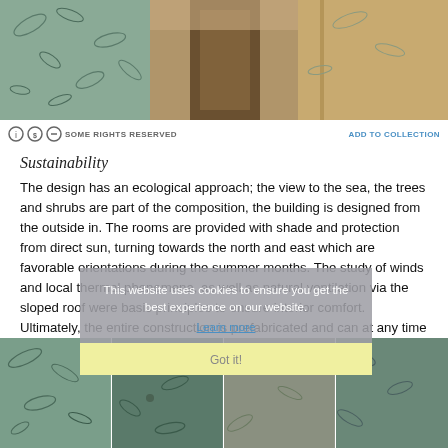[Figure (photo): Top image showing a building interior/exterior with green leaf-patterned panels on the left, a corridor view in the center, and wooden door on the right]
SOME RIGHTS RESERVED  ADD TO COLLECTION
Sustainability
The design has an ecological approach; the view to the sea, the trees and shrubs are part of the composition, the building is designed from the outside in. The rooms are provided with shade and protection from direct sun, turning towards the north and east which are favorable orientations during the summer months. The study of winds and local thermal phenomena, as well as natural ventilation via the sloped roof were basic principles to ensure interior comfort. Ultimately, the entire construction is prefabricated and can at any time be dismantled, leaving a small footprint on the natural environment.
This website uses cookies to ensure you get the best experience on our website. Learn more Got it!
[Figure (photo): Bottom image grid showing green leaf-patterned panels arranged in a grid layout]